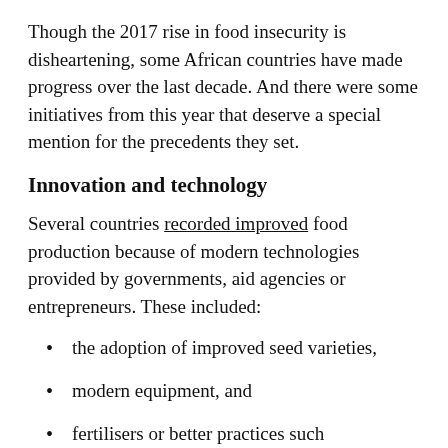Though the 2017 rise in food insecurity is disheartening, some African countries have made progress over the last decade. And there were some initiatives from this year that deserve a special mention for the precedents they set.
Innovation and technology
Several countries recorded improved food production because of modern technologies provided by governments, aid agencies or entrepreneurs. These included:
the adoption of improved seed varieties,
modern equipment, and
fertilisers or better practices such conservation agriculture.